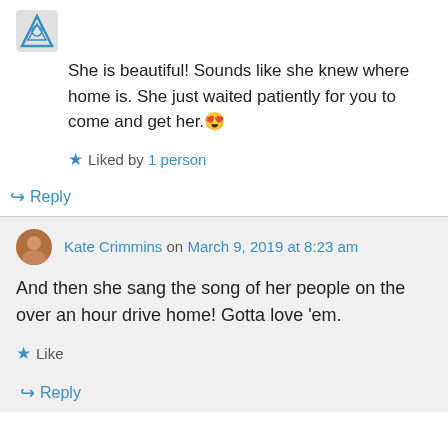She is beautiful! Sounds like she knew where home is. She just waited patiently for you to come and get her. 😍
★ Liked by 1 person
↪ Reply
Kate Crimmins on March 9, 2019 at 8:23 am
And then she sang the song of her people on the over an hour drive home! Gotta love 'em.
★ Like
↪ Reply